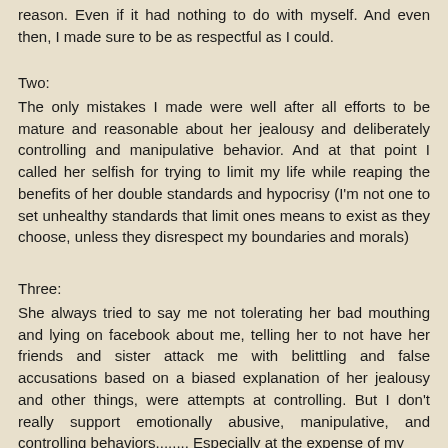reason. Even if it had nothing to do with myself. And even then, I made sure to be as respectful as I could.
Two:
The only mistakes I made were well after all efforts to be mature and reasonable about her jealousy and deliberately controlling and manipulative behavior. And at that point I called her selfish for trying to limit my life while reaping the benefits of her double standards and hypocrisy (I'm not one to set unhealthy standards that limit ones means to exist as they choose, unless they disrespect my boundaries and morals)
Three:
She always tried to say me not tolerating her bad mouthing and lying on facebook about me, telling her to not have her friends and sister attack me with belittling and false accusations based on a biased explanation of her jealousy and other things, were attempts at controlling. But I don't really support emotionally abusive, manipulative, and controlling behaviors........ Especially at the expense of my